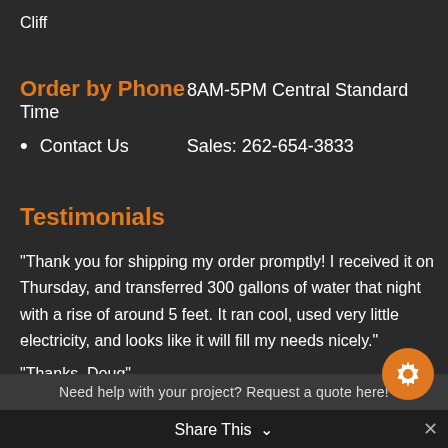Cliff
Order by Phone 8AM-5PM Central Standard Time
Contact Us    Sales: 262-654-3833
Testimonials
"Thank you for shipping my order promptly! I received it on Thursday, and transferred 300 gallons of water that night with a rise of around 5 feet. It ran cool, used very little electricity, and looks like it will fill my needs nicely." "Thanks, Doug"
"Great. Thanks for all your help. I will be a return
Need help with your project? Request a quote here!
customer
" Joe"
Share This ∨